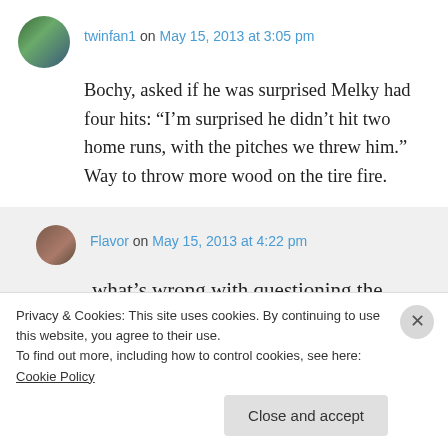twinfan1 on May 15, 2013 at 3:05 pm
Bochy, asked if he was surprised Melky had four hits: “I’m surprised he didn’t hit two home runs, with the pitches we threw him.” Way to throw more wood on the tire fire.
Flavor on May 15, 2013 at 4:22 pm
what’s wrong with questioning the pitches thrown?
Privacy & Cookies: This site uses cookies. By continuing to use this website, you agree to their use.
To find out more, including how to control cookies, see here: Cookie Policy